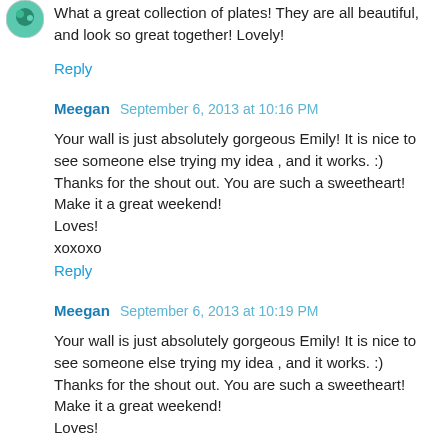[Figure (photo): Small circular avatar image, decorative/colorful]
What a great collection of plates! They are all beautiful, and look so great together! Lovely!
Reply
Meegan  September 6, 2013 at 10:16 PM
Your wall is just absolutely gorgeous Emily! It is nice to see someone else trying my idea , and it works. :)
Thanks for the shout out. You are such a sweetheart!
Make it a great weekend!
Loves!
xoxoxo
Reply
Meegan  September 6, 2013 at 10:19 PM
Your wall is just absolutely gorgeous Emily! It is nice to see someone else trying my idea , and it works. :)
Thanks for the shout out. You are such a sweetheart!
Make it a great weekend!
Loves!